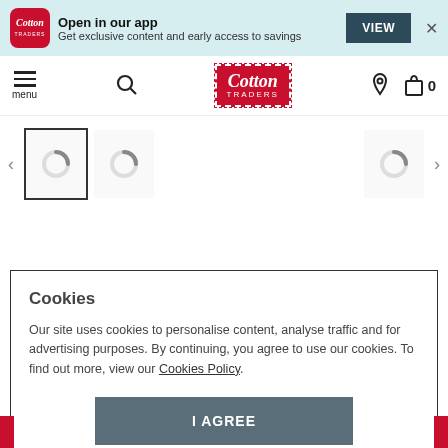[Figure (screenshot): App banner with Cotton Traders logo icon, 'Open in our app' heading, subtitle text, VIEW button, and close X button on light teal background]
[Figure (screenshot): Navigation bar with hamburger menu icon labeled 'menu', search icon, Cotton Traders logo in red, location pin icon, and bag icon with 0 count]
[Figure (screenshot): Carousel row with left and right arrows, one bordered thumbnail and two plain thumbnails each showing a loading spinner]
Cookies
Our site uses cookies to personalise content, analyse traffic and for advertising purposes. By continuing, you agree to use our cookies. To find out more, view our Cookies Policy.
I AGREE